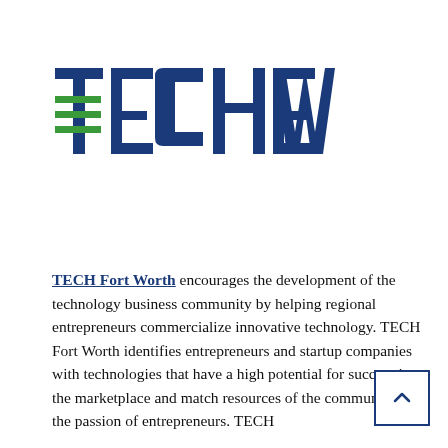[Figure (logo): TECH Fort Worth logo — stylized text 'TECHFW' in dark navy blue with green horizontal lines replacing the crossbars of T and E letters]
TECH Fort Worth encourages the development of the technology business community by helping regional entrepreneurs commercialize innovative technology. TECH Fort Worth identifies entrepreneurs and startup companies with technologies that have a high potential for success in the marketplace and match resources of the community with the passion of entrepreneurs. TECH